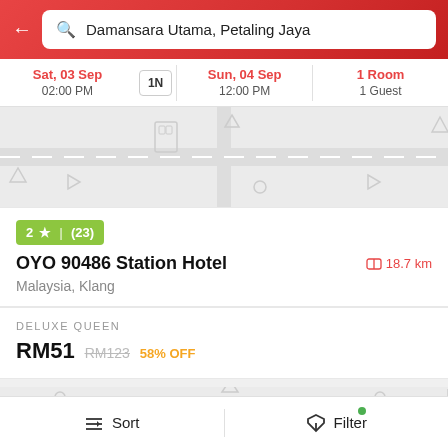Damansara Utama, Petaling Jaya
Sat, 03 Sep 02:00 PM | 1N | Sun, 04 Sep 12:00 PM | 1 Room 1 Guest
[Figure (map): Map background placeholder showing building outlines and navigation icons]
2 ★ | (23)
OYO 90486 Station Hotel — 18.7 km
Malaysia, Klang
DELUXE QUEEN
RM51 RM123 58% OFF
OYO Hotels
Sort | Filter